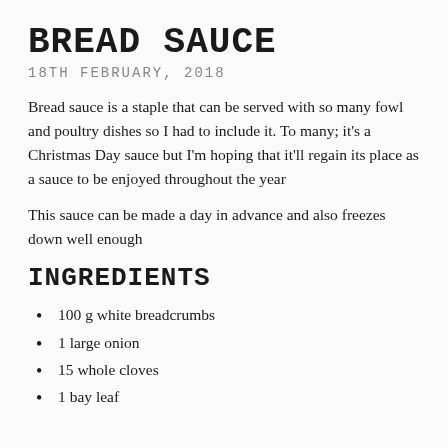BREAD SAUCE
18TH FEBRUARY, 2018
Bread sauce is a staple that can be served with so many fowl and poultry dishes so I had to include it. To many; it's a Christmas Day sauce but I'm hoping that it'll regain its place as a sauce to be enjoyed throughout the year
This sauce can be made a day in advance and also freezes down well enough
INGREDIENTS
100 g white breadcrumbs
1 large onion
15 whole cloves
1 bay leaf